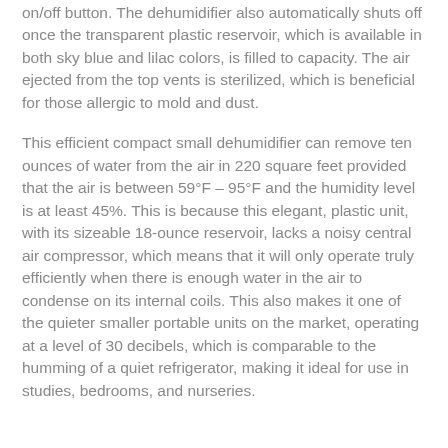on/off button. The dehumidifier also automatically shuts off once the transparent plastic reservoir, which is available in both sky blue and lilac colors, is filled to capacity. The air ejected from the top vents is sterilized, which is beneficial for those allergic to mold and dust.
This efficient compact small dehumidifier can remove ten ounces of water from the air in 220 square feet provided that the air is between 59°F – 95°F and the humidity level is at least 45%. This is because this elegant, plastic unit, with its sizeable 18-ounce reservoir, lacks a noisy central air compressor, which means that it will only operate truly efficiently when there is enough water in the air to condense on its internal coils. This also makes it one of the quieter smaller portable units on the market, operating at a level of 30 decibels, which is comparable to the humming of a quiet refrigerator, making it ideal for use in studies, bedrooms, and nurseries.